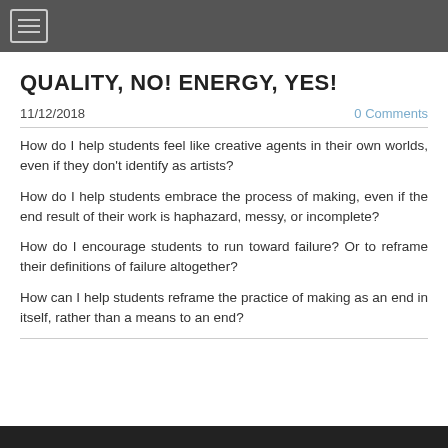≡ (navigation menu button)
QUALITY, NO! ENERGY, YES!
11/12/2018
0 Comments
How do I help students feel like creative agents in their own worlds, even if they don't identify as artists?
How do I help students embrace the process of making, even if the end result of their work is haphazard, messy, or incomplete?
How do I encourage students to run toward failure? Or to reframe their definitions of failure altogether?
How can I help students reframe the practice of making as an end in itself, rather than a means to an end?